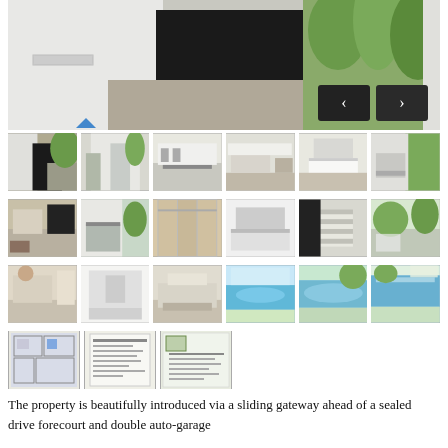[Figure (photo): Main large property photo showing sliding gateway entrance with gravel driveway, black garage door, and tropical landscaping with palm trees]
[Figure (photo): Grid of 21 property thumbnail photos showing various rooms and areas: exterior, kitchen, living areas, bedrooms, bathrooms, pool, and floor plans]
The property is beautifully introduced via a sliding gateway ahead of a sealed drive forecourt and double auto-garage